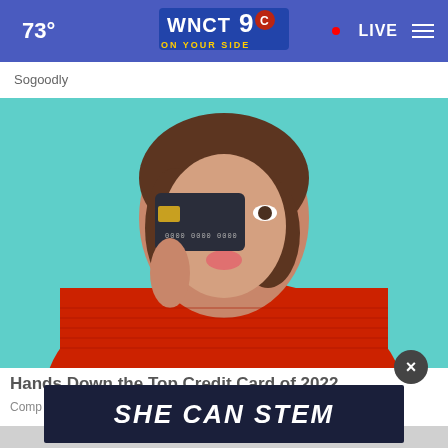73° WNCT9 ON YOUR SIDE · LIVE
Sogoodly
[Figure (photo): Woman in red sweater holding a dark credit card up to cover one eye, posing against a teal background]
Hands Down the Top Credit Card of 2022
Comp
[Figure (logo): SHE CAN STEM dark banner advertisement overlay]